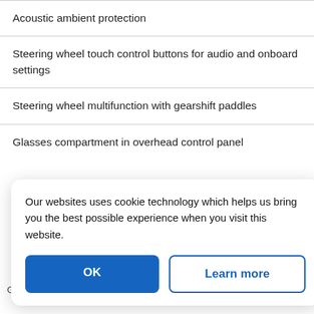Acoustic ambient protection
Steering wheel touch control buttons for audio and onboard settings
Steering wheel multifunction with gearshift paddles
Glasses compartment in overhead control panel
Our websites uses cookie technology which helps us bring you the best possible experience when you visit this website.
OK
Learn more